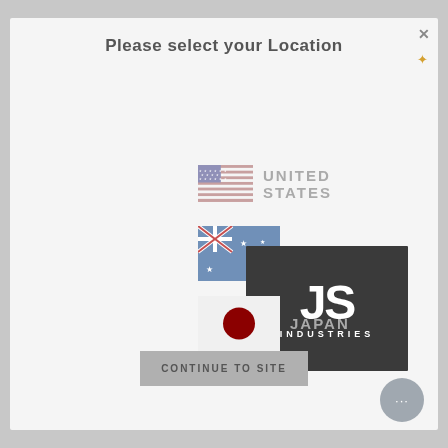Please select your Location
[Figure (screenshot): Location selector modal with US flag, Australia flag, Japan flag, and JS Industries logo overlay. Options: UNITED STATES, AUSTRALIA, JAPAN.]
UNITED STATES
AUSTRALIA
JAPAN
CONTINUE TO SITE